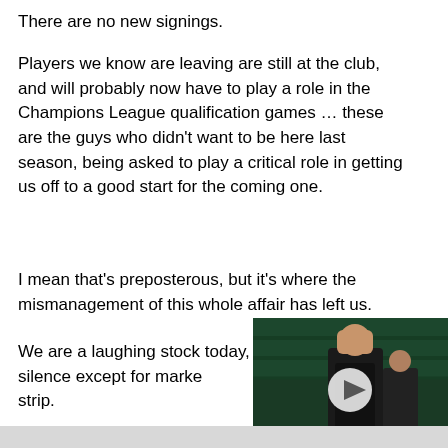There are no new signings.
Players we know are leaving are still at the club, and will probably now have to play a role in the Champions League qualification games … these are the guys who didn't want to be here last season, being asked to play a critical role in getting us off to a good start for the coming one.
I mean that's preposterous, but it's where the mismanagement of this whole affair has left us.
We are a laughing stock today, and the club's response is stone silence except for marke
strip.
[Figure (photo): A football manager covering his face with both hands in apparent frustration, wearing a dark jacket, with green stadium seating in the background. A white circular play button overlay is visible in the center.]
It's disgraceful.